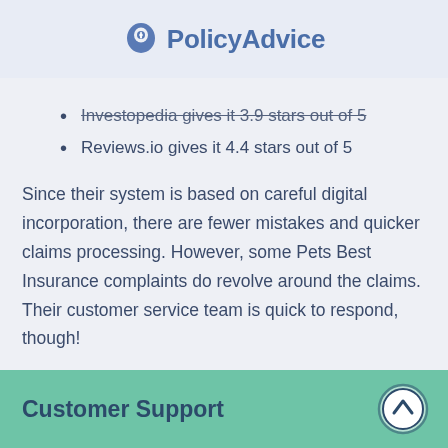PolicyAdvice
Investopedia gives it 3.9 stars out of 5
Reviews.io gives it 4.4 stars out of 5
Since their system is based on careful digital incorporation, there are fewer mistakes and quicker claims processing. However, some Pets Best Insurance complaints do revolve around the claims. Their customer service team is quick to respond, though!
Customer Support